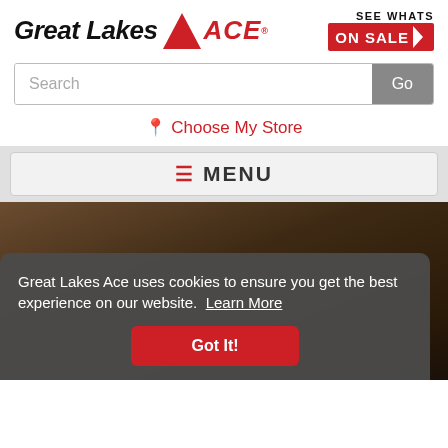[Figure (logo): Great Lakes Ace hardware store logo with red ACE triangle and text]
[Figure (infographic): SEE WHATS ON SALE red badge with arrow pointing right]
Search
Go
Choose My Store
≡ MENU
[Figure (photo): Outdoor background hero image with dark wood tones]
Great Lakes Ace uses cookies to ensure you get the best experience on our website. Learn More
Got It!